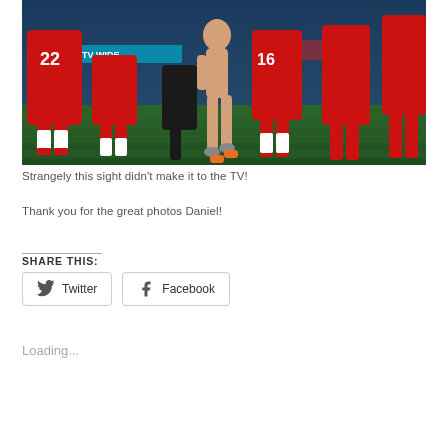[Figure (photo): Rugby match photo showing players in red jerseys with numbers 22 and 16, along with a streaker/pitch invader running among the players on a grass field at night under stadium lights.]
Strangely this sight didn't make it to the TV!
Thank you for the great photos Daniel!
SHARE THIS:
Twitter
Facebook
Loading...